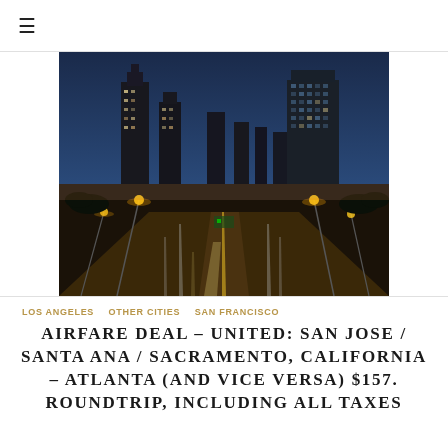≡
[Figure (photo): City skyline at dusk/night with highway in foreground and illuminated skyscrapers in background, likely Atlanta]
LOS ANGELES  OTHER CITIES  SAN FRANCISCO
AIRFARE DEAL – UNITED: SAN JOSE / SANTA ANA / SACRAMENTO, CALIFORNIA – ATLANTA (AND VICE VERSA) $157. ROUNDTRIP, INCLUDING ALL TAXES